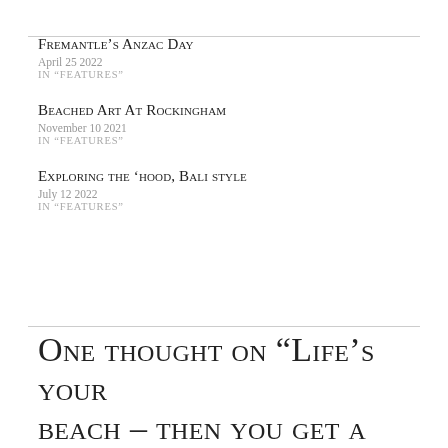Fremantle's Anzac Day
April 25 2022
IN "FEATURES"
Beached Art At Rockingham
November 10 2021
IN "FEATURES"
Exploring the 'hood, Bali style
July 12 2022
IN "FEATURES"
One thought on “Life’s your beach – then you get a dog!”